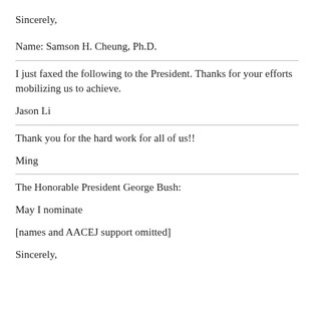Sincerely,
Name: Samson H. Cheung, Ph.D.
I just faxed the following to the President. Thanks for your efforts mobilizing us to achieve.
Jason Li
Thank you for the hard work for all of us!!
Ming
The Honorable President George Bush:
May I nominate
[names and AACEJ support omitted]
Sincerely,